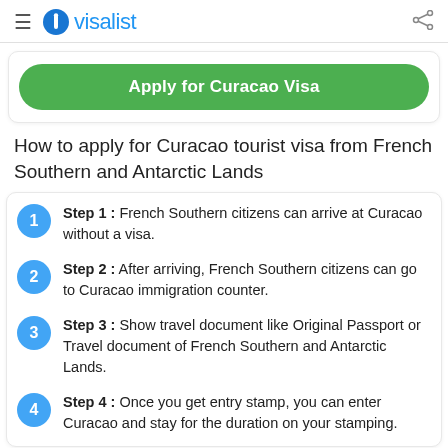visalist
Apply for Curacao Visa
How to apply for Curacao tourist visa from French Southern and Antarctic Lands
Step 1 : French Southern citizens can arrive at Curacao without a visa.
Step 2 : After arriving, French Southern citizens can go to Curacao immigration counter.
Step 3 : Show travel document like Original Passport or Travel document of French Southern and Antarctic Lands.
Step 4 : Once you get entry stamp, you can enter Curacao and stay for the duration on your stamping.